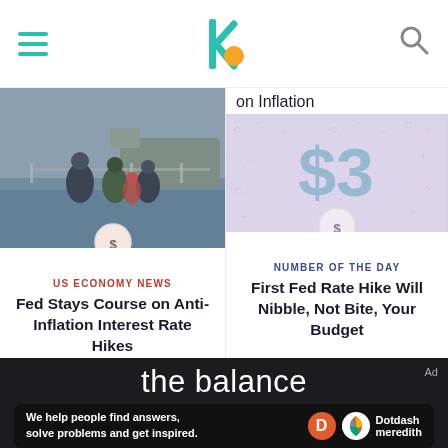[Figure (screenshot): The Balance website mobile header with hamburger menu, centered logo, and search icon]
on Inflation
[Figure (photo): People walking on a dock or ferry pier in cold weather, ships in background]
US ECONOMY NEWS
Fed Stays Course on Anti-Inflation Interest Rate Hikes
[Figure (illustration): Lavender/lilac background with decorative diamond symbols and a large $3 dollar sign with a coin hand icon badge below]
NUMBER OF THE DAY
First Fed Rate Hike Will Nibble, Not Bite, Your Budget
[Figure (logo): The Balance logo and Dotdash Meredith advertisement bar at the bottom]
We help people find answers, solve problems and get inspired.